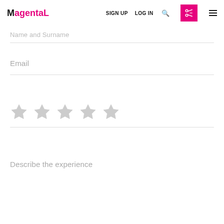MagentaL — SIGN UP  LOG IN  [search] [scissors] [menu]
Name and Surname
Email
[Figure (other): Five empty grey star rating icons in a row]
Describe the experience